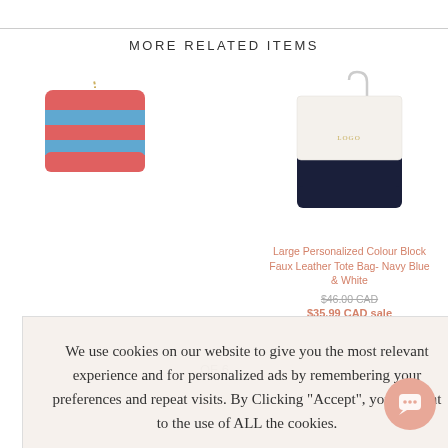MORE RELATED ITEMS
[Figure (photo): White and navy blue color block faux leather tote bag with single strap]
Large Personalized Colour Block Faux Leather Tote Bag- Navy Blue & White
$46.00 CAD (strikethrough) $35.99 CAD sale
OF 6
We use cookies on our website to give you the most relevant experience and for personalized ads by remembering your preferences and repeat visits. By Clicking "Accept", you consent to the use of ALL the cookies.
YES, I ACCEPT
More Info